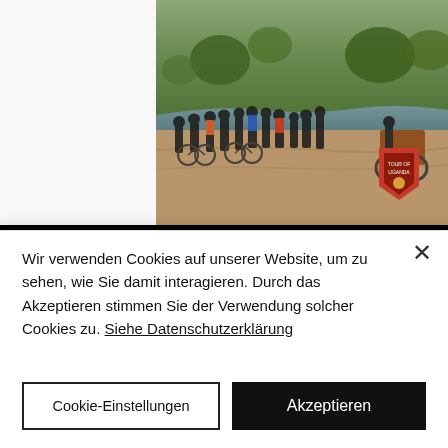[Figure (photo): Group of cyclists and motorcyclists gathered on a dirt road near a river, with green vegetation in the background. A Tour of Uganda badge/logo is visible in the top-right of the photo.]
Day 08 – Crossing the equator
- Leave after breakfast and head towards Lake Mburo National Park.
- Lunch at Igongo Cultural Center, which promotes the cultural heritage of south-west Uganda, particularly the Ankole Cattle,
Wir verwenden Cookies auf unserer Website, um zu sehen, wie Sie damit interagieren. Durch das Akzeptieren stimmen Sie der Verwendung solcher Cookies zu. Siehe Datenschutzerklärung
Cookie-Einstellungen
Akzeptieren